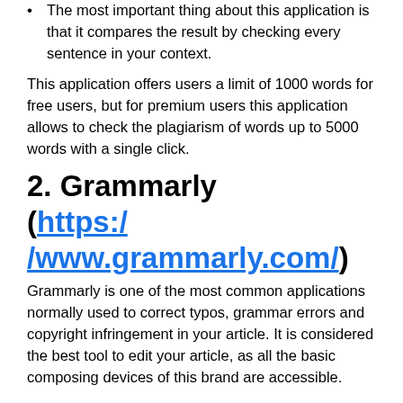The most important thing about this application is that it compares the result by checking every sentence in your context.
This application offers users a limit of 1000 words for free users, but for premium users this application allows to check the plagiarism of words up to 5000 words with a single click.
2. Grammarly (https://www.grammarly.com/)
Grammarly is one of the most common applications normally used to correct typos, grammar errors and copyright infringement in your article. It is considered the best tool to edit your article, as all the basic composing devices of this brand are accessible.